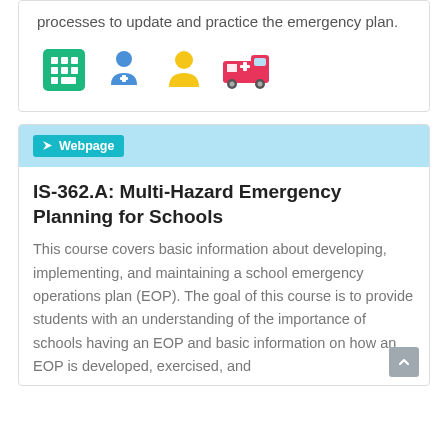processes to update and practice the emergency plan.
[Figure (illustration): Four icons in a row: a green calendar/grid icon, a blue doctor/medical person icon, a yellow person/user icon, and a pink/red ambulance icon.]
Webpage
IS-362.A: Multi-Hazard Emergency Planning for Schools
This course covers basic information about developing, implementing, and maintaining a school emergency operations plan (EOP). The goal of this course is to provide students with an understanding of the importance of schools having an EOP and basic information on how an EOP is developed, exercised, and